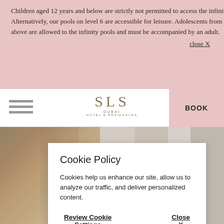Children aged 12 years and below are strictly not permitted to access the infinity pools on level 75. Alternatively, our pools on level 6 are accessible for leisure. Adolescents from the age of 13 and above are allowed to the infinity pools and must be accompanied by an adult.
close X
[Figure (logo): SLS Dubai Hotel & Residences logo with hamburger menu and BOOK button]
[Figure (photo): Hotel interior photo showing staircase and room with modern decor]
Cookie Policy
Cookies help us enhance our site, allow us to analyze our traffic, and deliver personalized content.
Review Cookie Settings
Close X